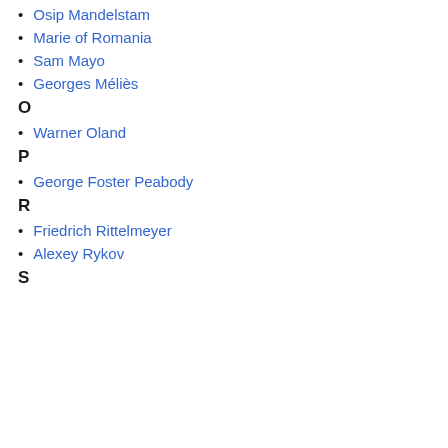Osip Mandelstam
Marie of Romania
Sam Mayo
Georges Méliès
O
Warner Oland
P
George Foster Peabody
R
Friedrich Rittelmeyer
Alexey Rykov
S